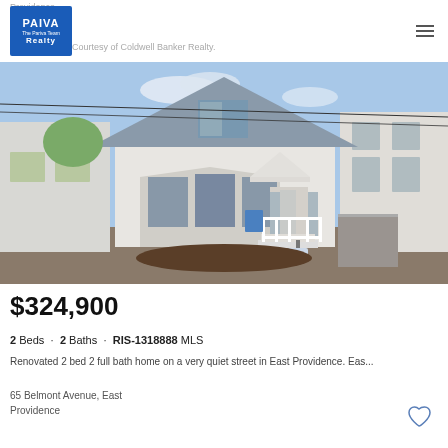Providence
[Figure (logo): Paiva The Pariva Team Realty blue logo box]
Courtesy of Coldwell Banker Realty.
[Figure (photo): Exterior photo of a two-story white/gray house with bay window, covered porch, white railings, and steps. Neighboring houses visible on both sides.]
$324,900
2 Beds · 2 Baths · RIS-1318888 MLS
Renovated 2 bed 2 full bath home on a very quiet street in East Providence. Eas...
65 Belmont Avenue, East Providence